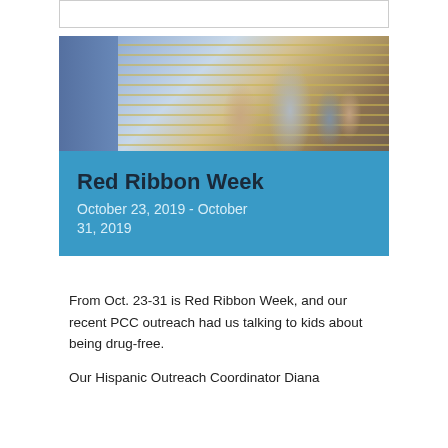[Figure (photo): Children in a school hallway; one child writing on a lined board, others standing nearby looking up]
Red Ribbon Week
October 23, 2019 - October 31, 2019
From Oct. 23-31 is Red Ribbon Week, and our recent PCC outreach had us talking to kids about being drug-free.
Our Hispanic Outreach Coordinator Diana